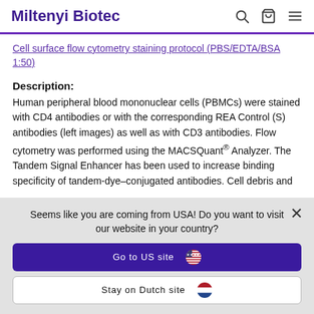Miltenyi Biotec
Cell surface flow cytometry staining protocol (PBS/EDTA/BSA 1:50)
Description:
Human peripheral blood mononuclear cells (PBMCs) were stained with CD4 antibodies or with the corresponding REA Control (S) antibodies (left images) as well as with CD3 antibodies. Flow cytometry was performed using the MACSQuant® Analyzer. The Tandem Signal Enhancer has been used to increase binding specificity of tandem-dye–conjugated antibodies. Cell debris and
Seems like you are coming from USA! Do you want to visit our website in your country?
Go to US site
Stay on Dutch site